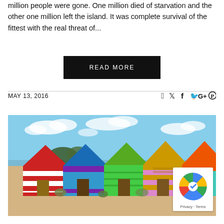million people were gone. One million died of starvation and the other one million left the island. It was complete survival of the fittest with the real threat of...
READ MORE
MAY 13, 2016
[Figure (photo): Colorful Brighton-style beach huts with striped and solid color walls, triangular roofs in red, blue, green, purple, yellow, orange and teal, set against a blue sky with scattered clouds and trees in the background near the seaside.]